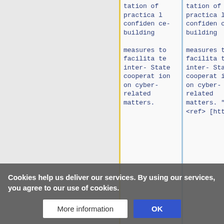|  | Column 2 | Column 3 |
| --- | --- | --- |
|  | tation of practical confidence-building

measures to facilitate inter-State cooperation on cyber-related matters. | tation of practical confidence-building

measures to facilitate inter-State cooperation on cyber-related matters. "<ref> [https:/ |
Cookies help us deliver our services. By using our services, you agree to our use of cookies.